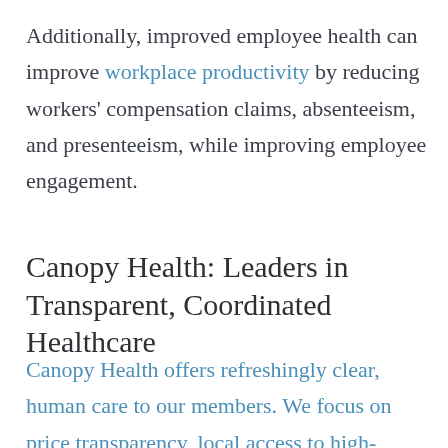Additionally, improved employee health can improve workplace productivity by reducing workers' compensation claims, absenteeism, and presenteeism, while improving employee engagement.
Canopy Health: Leaders in Transparent, Coordinated Healthcare
Canopy Health offers refreshingly clear, human care to our members. We focus on price transparency, local access to high-quality physicians, and well-coordinated care. This